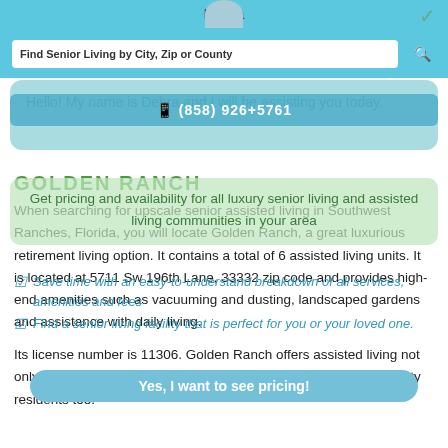Debra
Find Senior Living by City, Zip or County
(858) 926+5761
Hello! My name is Debra and I will be assisting you today.
GOLDEN RANCH
Get pricing and availability for all luxury senior living and assisted living communities in your area
When searching for upscale senior assisted living in Southwest Ranches, Florida, you will locate Golden Ranch, a great luxurious retirement living option. It contains a total of 6 assisted living units. It is located at 5711 Sw 196th Lane, 33332 zip code and provides high-end amenities such as vacuuming and dusting, landscaped gardens and assistance with daily living.
Save time with an easy-to-understand breakdown of all services, amenities and fees
Find a senior living facility that is perfect for you or your loved one
Its license number is 11306. Golden Ranch offers assisted living not only to Southwest Ranches residents, but also to all Broward county residents too.
Yes, I want to see pricing!